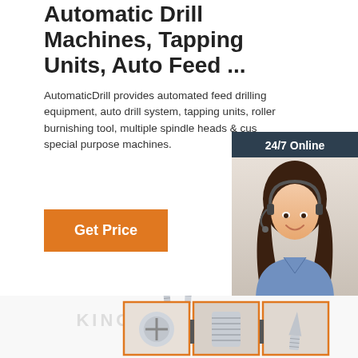Automatic Drill Machines, Tapping Units, Auto Feed ...
AutomaticDrill provides automated feed drilling equipment, auto drill system, tapping units, roller burnishing tool, multiple spindle heads & custom special purpose machines.
[Figure (illustration): Orange 'Get Price' button]
[Figure (photo): Chat widget with '24/7 Online' header, photo of female customer service representative with headset, 'Click here for free chat!' text and orange QUOTATION button]
[Figure (photo): Various metal screws and fasteners arranged on white background with watermark, and three smaller thumbnail images of screw close-ups in orange-bordered boxes at bottom]